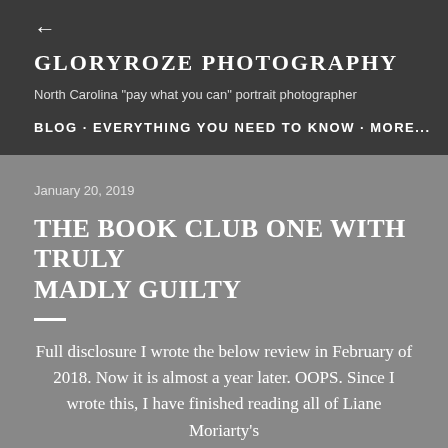← GLORYROZE PHOTOGRAPHY North Carolina "pay what you can" portrait photographer BLOG · EVERYTHING YOU NEED TO KNOW · MORE...
January 20, 2019
THE BOOK CLUB ONE WITH TRULY MADLY GUILTY
Full disclosure I wrote the below review in February of 2018. Now it is almost a year later. OOPS. Since I wrote this, I have finished reading all of Liane Moriarty's